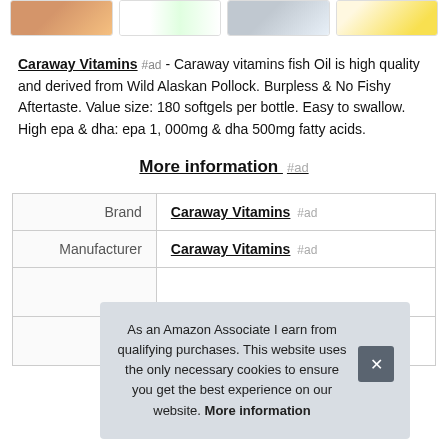[Figure (screenshot): Row of four product thumbnail images at top of page]
Caraway Vitamins #ad - Caraway vitamins fish Oil is high quality and derived from Wild Alaskan Pollock. Burpless & No Fishy Aftertaste. Value size: 180 softgels per bottle. Easy to swallow. High epa & dha: epa 1, 000mg & dha 500mg fatty acids.
More information #ad
|  |  |
| --- | --- |
| Brand | Caraway Vitamins #ad |
| Manufacturer | Caraway Vitamins #ad |
As an Amazon Associate I earn from qualifying purchases. This website uses the only necessary cookies to ensure you get the best experience on our website. More information